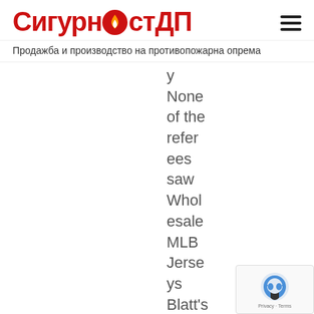СигурностДП
Продажба и производство на противопожарна опрема
y
None
of the
refer
ees
saw
Whol
esale
MLB
Jerse
ys
Blatt's
call,
but
his
head
assist
ant